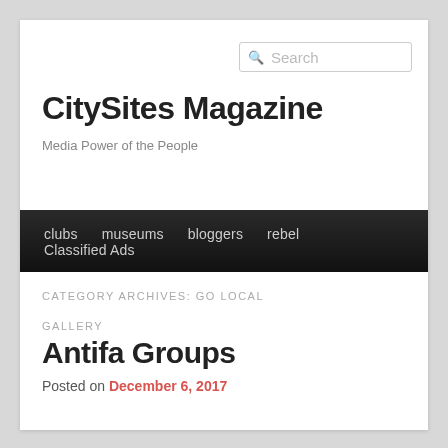Search
CitySites Magazine
Media Power of the People
clubs  museums  bloggers  rebel  Classified Ads
CATEGORY ARCHIVES: GO LOCAL
GALLERY
Antifa Groups
Posted on December 6, 2017